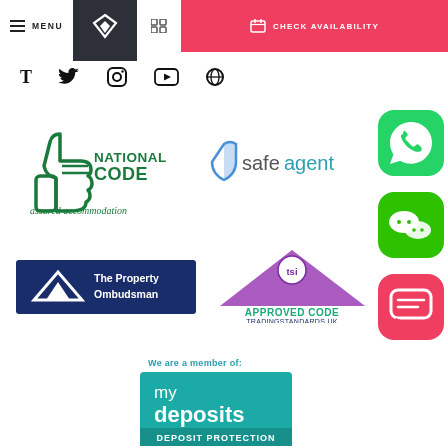[Figure (screenshot): Website header navigation bar with hamburger menu icon labeled MENU, diamond/heart logo on dark background, grid icon, and pink CHECK AVAILABILITY button with calendar icon]
[Figure (logo): Row of social media icons: T (Tumblr), Twitter bird, Instagram camera, YouTube play button, and another social icon]
[Figure (logo): National Code assured accommodation logo - green thumbs up with text NATIONAL CODE and cursive 'assured accommodation']
[Figure (logo): safeagent logo in teal/blue text with shield icon]
[Figure (logo): WhatsApp green rounded square icon with white phone/chat bubble]
[Figure (logo): The Property Ombudsman logo - navy blue rectangle with white triangle and text]
[Figure (logo): TSI Approved Code tradingstandards.uk logo - purple triangle roof shape with tsi badge]
[Figure (logo): WeChat green rounded square icon with two white chat bubbles]
[Figure (logo): Coral/red rounded square message icon]
We are a member of:
[Figure (logo): mydeposits teal square logo with text 'my deposits DEPOSIT PROTECTION']